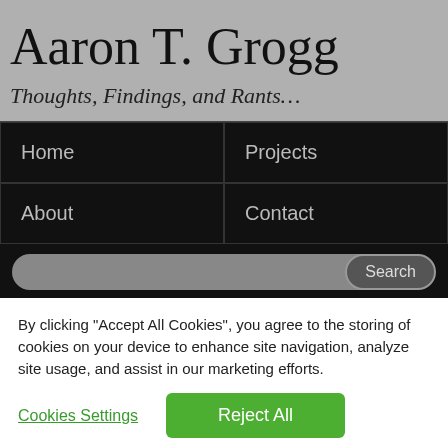Aaron T. Grogg
Thoughts, Findings, and Rants…
[Figure (screenshot): Navigation menu with black background, 2x2 grid: Home, Projects, About, Contact]
[Figure (screenshot): Search bar with gray input field and Search button]
By clicking “Accept All Cookies”, you agree to the storing of cookies on your device to enhance site navigation, analyze site usage, and assist in our marketing efforts.
Cookies Settings
Reject All